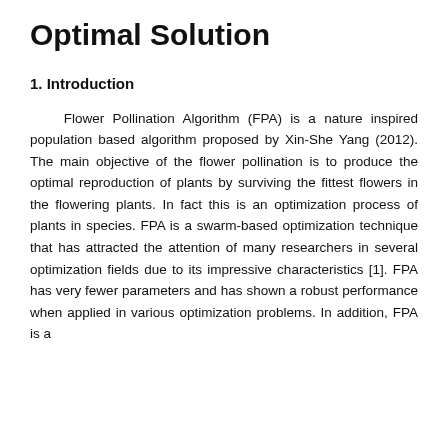Optimal Solution
1. Introduction
Flower Pollination Algorithm (FPA) is a nature inspired population based algorithm proposed by Xin-She Yang (2012). The main objective of the flower pollination is to produce the optimal reproduction of plants by surviving the fittest flowers in the flowering plants. In fact this is an optimization process of plants in species. FPA is a swarm-based optimization technique that has attracted the attention of many researchers in several optimization fields due to its impressive characteristics [1]. FPA has very fewer parameters and has shown a robust performance when applied in various optimization problems. In addition, FPA is a